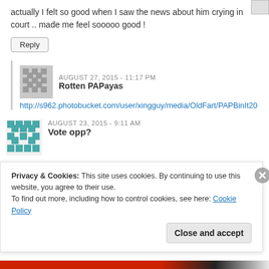actually I felt so good when I saw the news about him crying in court .. made me feel sooooo good !
Reply
AUGUST 27, 2015 - 11:17 PM
Rotten PAPayas
http://s962.photobucket.com/user/xingguy/media/OldFart/PAPBinIt20
AUGUST 23, 2015 - 9:11 AM
Vote opp?
Yo daniel?
Where are you? Someone is poking fun of our beloved supreme leader
Privacy & Cookies: This site uses cookies. By continuing to use this website, you agree to their use.
To find out more, including how to control cookies, see here: Cookie Policy
Close and accept